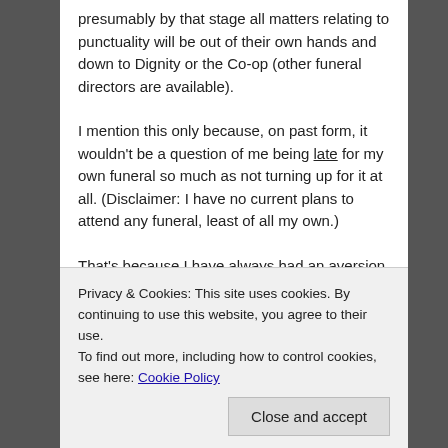presumably by that stage all matters relating to punctuality will be out of their own hands and down to Dignity or the Co-op (other funeral directors are available).
I mention this only because, on past form, it wouldn't be a question of me being late for my own funeral so much as not turning up for it at all. (Disclaimer: I have no current plans to attend any funeral, least of all my own.)
That's because I have always had an aversion to what are commonly described as 'leaving dos': whether my own or others.
I think it all started when I didn't go to my last school
Privacy & Cookies: This site uses cookies. By continuing to use this website, you agree to their use. To find out more, including how to control cookies, see here: Cookie Policy